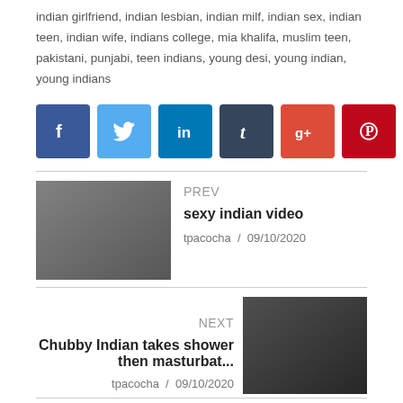indian girlfriend, indian lesbian, indian milf, indian sex, indian teen, indian wife, indians college, mia khalifa, muslim teen, pakistani, punjabi, teen indians, young desi, young indian, young indians
[Figure (other): Row of social sharing buttons: Facebook (blue), Twitter (light blue), LinkedIn (blue), Tumblr (dark navy), Google+ (red), Pinterest (dark red), VK (dark gray/black), Email (green)]
[Figure (photo): Thumbnail image for previous post: sexy indian video]
PREV
sexy indian video
tpacocha / 09/10/2020
NEXT
Chubby Indian takes shower then masturbat...
tpacocha / 09/10/2020
[Figure (photo): Thumbnail image for next post: Chubby Indian takes shower then masturbat...]